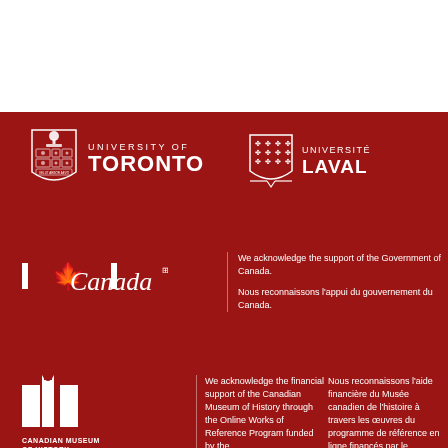[Figure (logo): University of Toronto crest/shield logo with tree on top]
[Figure (logo): Text: UNIVERSITY OF TORONTO in white on red background]
[Figure (logo): Université Laval shield/crest logo with fleur-de-lis pattern]
[Figure (logo): Text: UNIVERSITÉ LAVAL in white on red background]
[Figure (logo): Canada wordmark logo with maple leaf flag symbol]
We acknowledge the support of the Government of Canada.

Nous reconnaissons l'appui du gouvernement du Canada.
[Figure (logo): Canadian Museum of History / Musée canadien de l'histoire logo (stylized M shape)]
CANADIAN MUSEUM OF HISTORY
MUSÉE CANADIEN DE L'HISTOIRE
We acknowledge the financial support of the Canadian Museum of History through the Online Works of Reference Program funded by the
Nous reconnaissons l'aide financière du Musée canadien de l'histoire à travers les œuvres du programme de référence en ligne financés par le